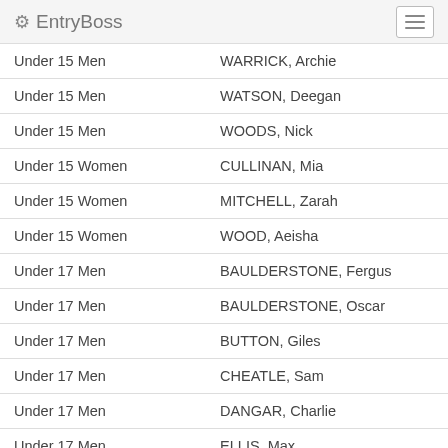EntryBoss
| Category | Name |
| --- | --- |
| Under 15 Men | WARRICK, Archie |
| Under 15 Men | WATSON, Deegan |
| Under 15 Men | WOODS, Nick |
| Under 15 Women | CULLINAN, Mia |
| Under 15 Women | MITCHELL, Zarah |
| Under 15 Women | WOOD, Aeisha |
| Under 17 Men | BAULDERSTONE, Fergus |
| Under 17 Men | BAULDERSTONE, Oscar |
| Under 17 Men | BUTTON, Giles |
| Under 17 Men | CHEATLE, Sam |
| Under 17 Men | DANGAR, Charlie |
| Under 17 Men | ELLIS, Max |
| Under 17 Men | FARMER, Sebastian |